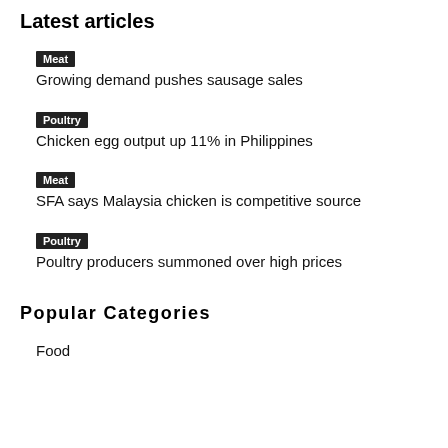Latest articles
Meat | Growing demand pushes sausage sales
Poultry | Chicken egg output up 11% in Philippines
Meat | SFA says Malaysia chicken is competitive source
Poultry | Poultry producers summoned over high prices
Popular Categories
Food